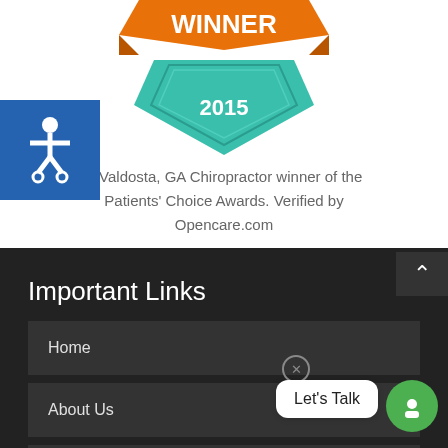[Figure (logo): Winner 2015 award badge with orange ribbon banner on top and teal diamond/shield shape below with '2015' text]
[Figure (logo): Blue square accessibility icon with wheelchair symbol in white]
A Valdosta, GA Chiropractor winner of the Patients' Choice Awards. Verified by Opencare.com
Important Links
Home
About Us
New Patient Froms
Let's Talk